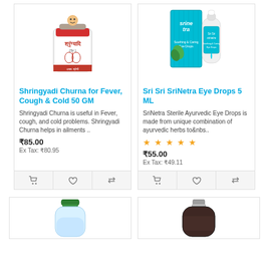[Figure (photo): Product image of Shringyadi Churna for Fever, Cough & Cold 50 GM - a white jar with Devanagari script and red band]
Shringyadi Churna for Fever, Cough & Cold 50 GM
Shringyadi Churna is useful in Fever, cough, and cold problems. Shringyadi Churna helps in ailments ..
₹85.00
Ex Tax: ₹80.95
[Figure (photo): Product image of Sri Sri SriNetra Eye Drops 5 ML - teal/cyan box with drop bottle]
Sri Sri SriNetra Eye Drops 5 ML
SriNetra Sterile Ayurvedic Eye Drops is made from unique combination of ayurvedic herbs to&nbs..
★★★★★
₹55.00
Ex Tax: ₹49.11
[Figure (photo): Bottom partial product image - clear bottle with green cap]
[Figure (photo): Bottom partial product image - dark bottle with gray cap]